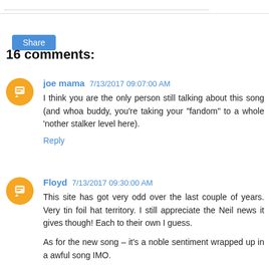...
Share
16 comments:
joe mama 7/13/2017 09:07:00 AM
I think you are the only person still talking about this song (and whoa buddy, you're taking your "fandom" to a whole 'nother stalker level here).
Reply
Floyd 7/13/2017 09:30:00 AM
This site has got very odd over the last couple of years. Very tin foil hat territory. I still appreciate the Neil news it gives though! Each to their own I guess.

As for the new song – it's a noble sentiment wrapped up in a awful song IMO.
Reply